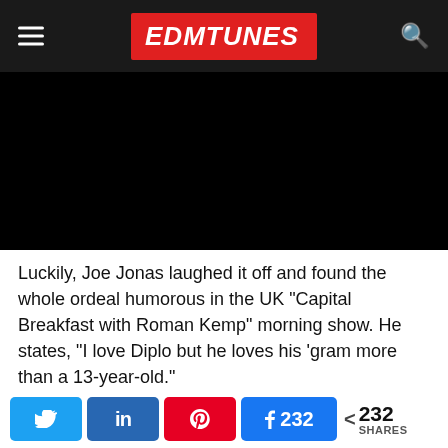EDMTunes
[Figure (screenshot): Black video player thumbnail]
Luckily, Joe Jonas laughed it off and found the whole ordeal humorous in the UK “Capital Breakfast with Roman Kemp” morning show. He states, “I love Diplo but he loves his ‘gram more than a 13-year-old.”
Priyanka Chopra, who’s married to Nick Jonas, had accidentally
232 SHARES